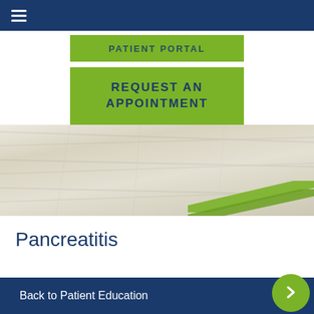Navigation bar with hamburger menu
[Figure (screenshot): Green button: PATIENT PORTAL (partially visible at top)]
[Figure (screenshot): Green button: REQUEST AN APPOINTMENT]
[Figure (photo): Wood texture background image with green arrow decoration in the lower right]
Pancreatitis
Back to Patient Education